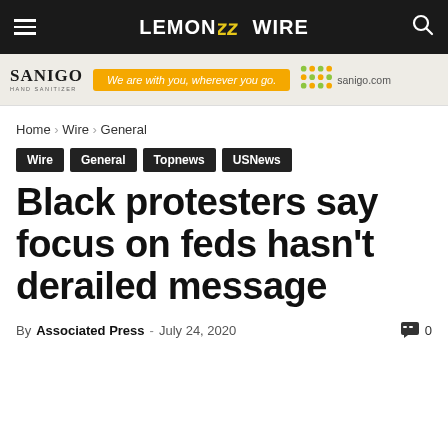LEMON WIRE
[Figure (other): SaniGo hand sanitizer advertisement banner: logo, tagline 'We are with you, wherever you go.', green dots graphic, sanigo.com]
Home › Wire › General
Wire
General
Topnews
USNews
Black protesters say focus on feds hasn't derailed message
By Associated Press - July 24, 2020   0